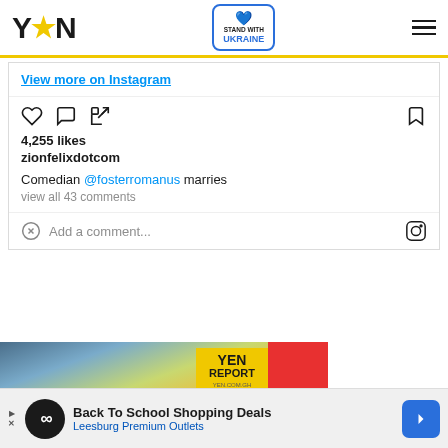YEN — Stand With Ukraine
View more on Instagram
4,255 likes
zionfelixdotcom
Comedian @fosterromanus marries
view all 43 comments
Add a comment...
[Figure (screenshot): YEN Report video overlay showing Accra Beautification Project with mural wall street art, play button in center, yellow YEN REPORT badge top right, red collapse button]
Back To School Shopping Deals — Leesburg Premium Outlets